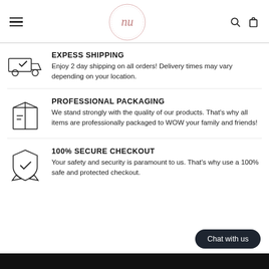Nu — navigation header with logo, hamburger menu, search and cart icons
EXPESS SHIPPING
Enjoy 2 day shipping on all orders! Delivery times may vary depending on your location.
PROFESSIONAL PACKAGING
We stand strongly with the quality of our products. That's why all items are professionally packaged to WOW your family and friends!
100% SECURE CHECKOUT
Your safety and security is paramount to us. That's why use a 100% safe and protected checkout.
Chat with us